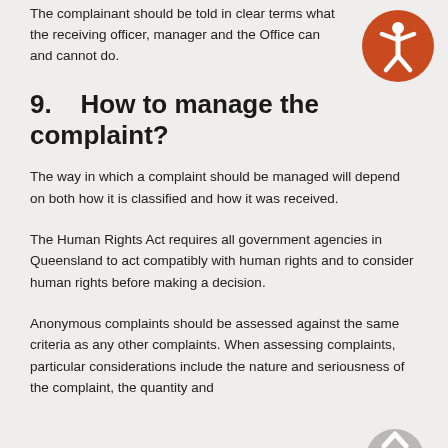The complainant should be told in clear terms what the receiving officer, manager and the Office can and cannot do.
[Figure (illustration): Orange circle icon with white accessibility/person figure]
9.    How to manage the complaint?
The way in which a complaint should be managed will depend on both how it is classified and how it was received.
The Human Rights Act requires all government agencies in Queensland to act compatibly with human rights and to consider human rights before making a decision.
Anonymous complaints should be assessed against the same criteria as any other complaints. When assessing complaints, particular considerations include the nature and seriousness of the complaint, the quantity and